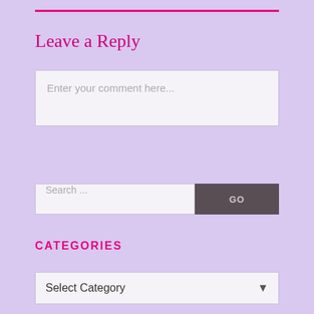Leave a Reply
[Figure (screenshot): Comment text area input box with placeholder text 'Enter your comment here...']
[Figure (screenshot): Search input field with placeholder 'Search ...' and a dark GO button]
CATEGORIES
[Figure (screenshot): Dropdown selector showing 'Select Category' with a down arrow]